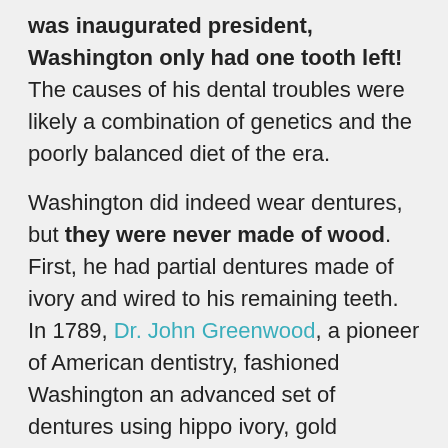was inaugurated president, Washington only had one tooth left! The causes of his dental troubles were likely a combination of genetics and the poorly balanced diet of the era.
Washington did indeed wear dentures, but they were never made of wood. First, he had partial dentures made of ivory and wired to his remaining teeth. In 1789, Dr. John Greenwood, a pioneer of American dentistry, fashioned Washington an advanced set of dentures using hippo ivory, gold springs, and brass screws attached to human teeth. He had other sets after this one, and as good as Washington's dentures were for the time, they still caused him pain and noticeably changed the shape of his face.
One interesting detail about Washington's dentures is that Dr. Greenwood designed them to make room for that last remaining natural tooth. He is reported to have told Washington that a dentist should "never extract a